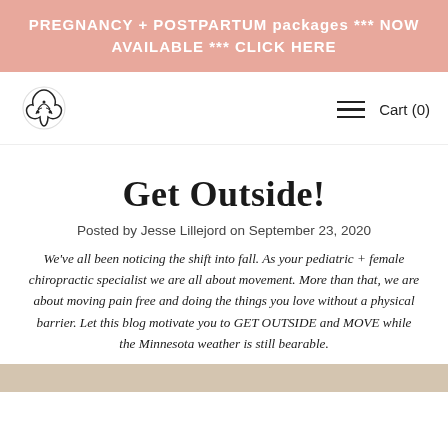PREGNANCY + POSTPARTUM packages *** NOW AVAILABLE *** CLICK HERE
[Figure (logo): Trinity knot / triquetra logo mark in black line art]
Cart (0)
Get Outside!
Posted by Jesse Lillejord on September 23, 2020
We've all been noticing the shift into fall. As your pediatric + female chiropractic specialist we are all about movement. More than that, we are about moving pain free and doing the things you love without a physical barrier. Let this blog motivate you to GET OUTSIDE and MOVE while the Minnesota weather is still bearable.
[Figure (photo): Partial image at bottom of page with tan/beige background color]